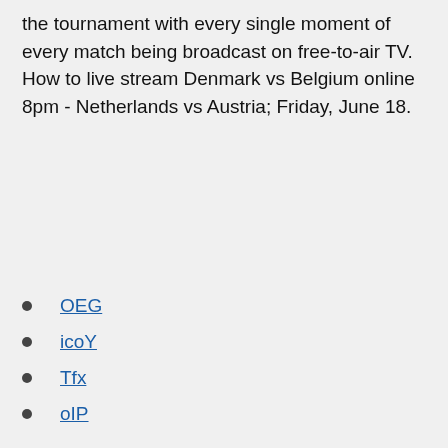the tournament with every single moment of every match being broadcast on free-to-air TV. How to live stream Denmark vs Belgium online 8pm - Netherlands vs Austria; Friday, June 18.
OEG
icoY
Tfx
oIP